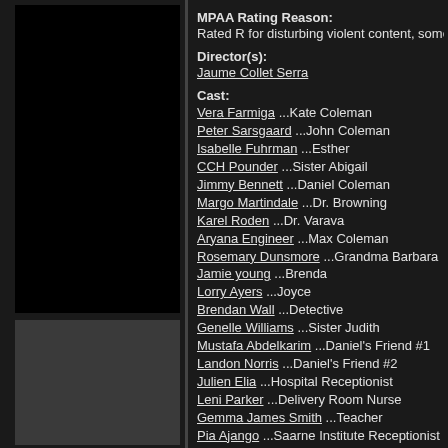MPAA Rating Reason:
Rated R for disturbing violent content, some se
Director(s):
Jaume Collet Serra
Cast:
Vera Farmiga ...Kate Coleman
Peter Sarsgaard ...John Coleman
Isabelle Fuhrman ...Esther
CCH Pounder ...Sister Abigail
Jimmy Bennett ...Daniel Coleman
Margo Martindale ...Dr. Browning
Karel Roden ...Dr. Varava
Aryana Engineer ...Max Coleman
Rosemary Dunsmore ...Grandma Barbara
Jamie young ...Brenda
Lorry Ayers ...Joyce
Brendan Wall ...Detective
Genelle Williams ...Sister Judith
Mustafa Abdelkarim ...Daniel's Friend #1
Landon Norris ...Daniel's Friend #2
Julien Elia ...Hospital Receptionist
Leni Parker ...Delivery Room Nurse
Gemma James Smith ...Teacher
Pia Ajango ...Saarne Institute Receptionist
Matthew Raudsepp ...Saarne Institute Orderly
Sugith Varughese ...ICU Doctor
Luis Olivia ...ICU Nurse
Ferelith young ...Waiting Room Nurse
Andrew Shaver ...Injection Doctor